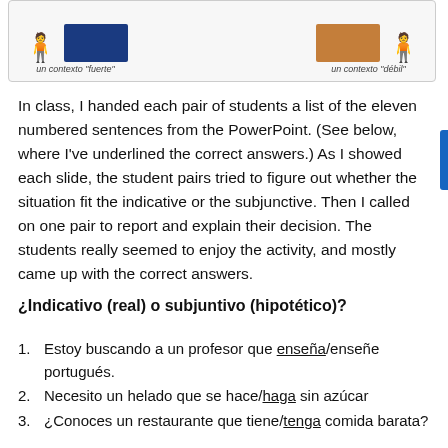[Figure (illustration): A strip showing two contexts: 'un contexto fuerte' on the left (figure with blue rectangle/sign) and 'un contexto débil' on the right (figure standing alone), with captions below each.]
In class, I handed each pair of students a list of the eleven numbered sentences from the PowerPoint. (See below, where I've underlined the correct answers.) As I showed each slide, the student pairs tried to figure out whether the situation fit the indicative or the subjunctive. Then I called on one pair to report and explain their decision. The students really seemed to enjoy the activity, and mostly came up with the correct answers.
¿Indicativo (real) o subjuntivo (hipotético)?
Estoy buscando a un profesor que enseña/enseñe portugués.
Necesito un helado que se hace/haga sin azúcar
¿Conoces un restaurante que tiene/tenga comida barata?